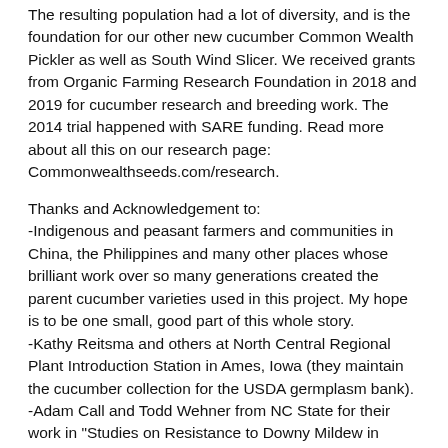The resulting population had a lot of diversity, and is the foundation for our other new cucumber Common Wealth Pickler as well as South Wind Slicer. We received grants from Organic Farming Research Foundation in 2018 and 2019 for cucumber research and breeding work. The 2014 trial happened with SARE funding. Read more about all this on our research page: Commonwealthseeds.com/research.
Thanks and Acknowledgement to:
-Indigenous and peasant farmers and communities in China, the Philippines and many other places whose brilliant work over so many generations created the parent cucumber varieties used in this project. My hope is to be one small, good part of this whole story.
-Kathy Reitsma and others at North Central Regional Plant Introduction Station in Ames, Iowa (they maintain the cucumber collection for the USDA germplasm bank).
-Adam Call and Todd Wehner from NC State for their work in "Studies on Resistance to Downy Mildew in Cucumber" (2010). Results of this study largely informed the choices in our 2014 downy mildew trial where we identified what parents to use in this project.
-Michael Mazourek, organic plant breeder from Cornell, for support,